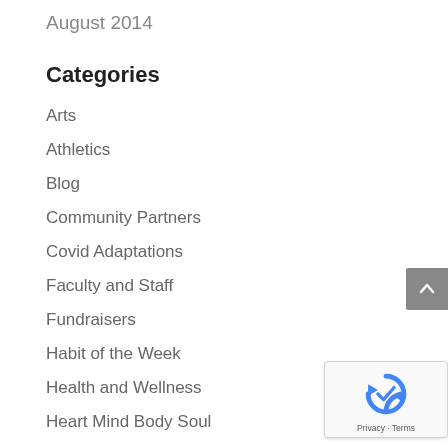August 2014
Categories
Arts
Athletics
Blog
Community Partners
Covid Adaptations
Faculty and Staff
Fundraisers
Habit of the Week
Health and Wellness
Heart Mind Body Soul
Leadership